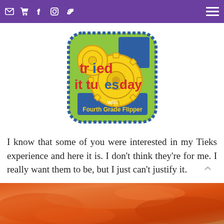Navigation bar with social icons and menu
[Figure (logo): Tried it Tuesday with Fourth Grade Flipper logo - green badge shape with blue and yellow gears and colorful lettering]
I know that some of you were interested in my Tieks experience and here it is. I don't think they're for me. I really want them to be, but I just can't justify it.
[Figure (photo): Close-up photo of orange/red food items at the bottom of the page]